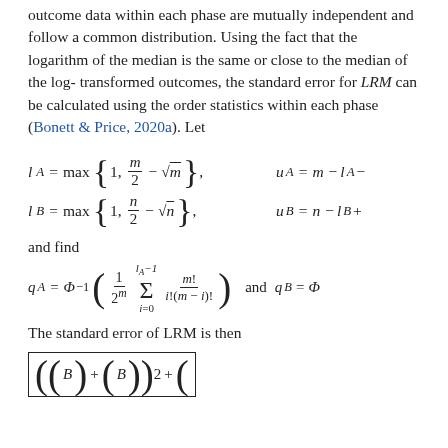outcome data within each phase are mutually independent and follow a common distribution. Using the fact that the logarithm of the median is the same or close to the median of the log-transformed outcomes, the standard error for LRM can be calculated using the order statistics within each phase (Bonett & Price, 2020a). Let
and find
The standard error of LRM is then